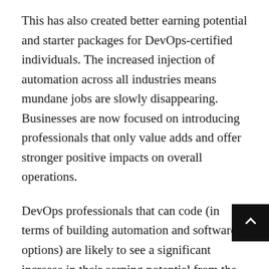This has also created better earning potential and starter packages for DevOps-certified individuals. The increased injection of automation across all industries means mundane jobs are slowly disappearing. Businesses are now focused on introducing professionals that only value adds and offer stronger positive impacts on overall operations.
DevOps professionals that can code (in terms of building automation and software options) are likely to see a significant increase in their earning potential from the year prior. Traditional roles are no longer cutting it. Businesses want to hire individuals with well-built and diverse skill sets to combine multiple roles into one streamlined process. This has also encouraged investment in training and certification courses. The term ‘Department” is sure to be expounded upon with conventional roles out the window and a strong emphasis on efficiency and